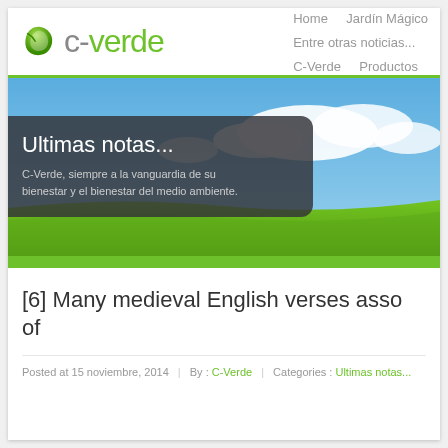C-Verde | Home | Jardín Mágico | Entre otras noticias... | C-Verde | Productos
[Figure (photo): Hero banner showing green field with blue sky and white clouds. Dark semi-transparent overlay on left with text 'Ultimas notas...' and subtext 'C-Verde, siempre a la vanguardia de su bienestar y el bienestar del medio ambiente.']
[6] Many medieval English verses asso of
Posted at 15 noviembre, 2014 | By : C-Verde | Categories : Ultimas notas...